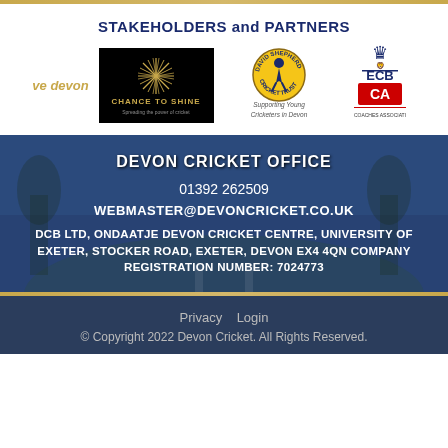STAKEHOLDERS and PARTNERS
[Figure (logo): Active Devon logo text in italic gold]
[Figure (logo): Chance to Shine logo on black background with starburst graphic, text: CHANCE TO SHINE Spreading the power of cricket]
[Figure (logo): David Shepherd Cricket Trust circular logo with figure, text: DAVID SHEPHERD CRICKET TRUST Supporting Young Cricketers in Devon]
[Figure (logo): ECB logo and Coaches Association CA logo]
DEVON CRICKET OFFICE
01392 262509
WEBMASTER@DEVONCRICKET.CO.UK
DCB LTD, ONDAATJE DEVON CRICKET CENTRE, UNIVERSITY OF EXETER, STOCKER ROAD, EXETER, DEVON EX4 4QN COMPANY REGISTRATION NUMBER: 7024773
Privacy   Login
© Copyright 2022 Devon Cricket. All Rights Reserved.